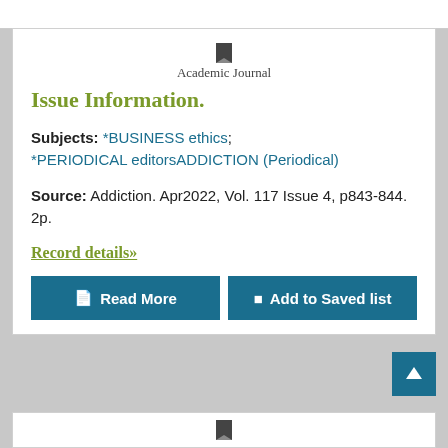[Figure (other): Bookmark icon above 'Academic Journal' label]
Academic Journal
Issue Information.
Subjects: *BUSINESS ethics; *PERIODICAL editorsADDICTION (Periodical)
Source: Addiction. Apr2022, Vol. 117 Issue 4, p843-844. 2p.
Record details»
Read More
Add to Saved list